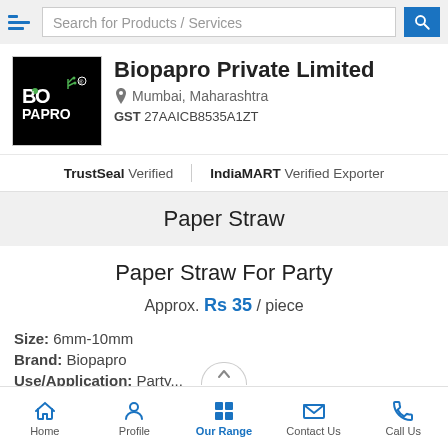Search for Products / Services
Biopapro Private Limited
Mumbai, Maharashtra
GST 27AAICB8535A1ZT
TrustSeal Verified | IndiaMART Verified Exporter
Paper Straw
Paper Straw For Party
Approx. Rs 35 / piece
Size: 6mm-10mm
Brand: Biopapro
Home | Profile | Our Range | Contact Us | Call Us